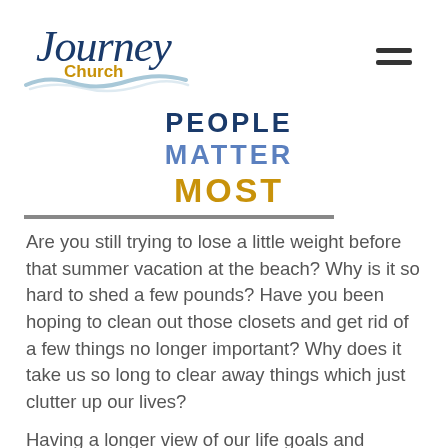[Figure (logo): Journey Church logo with italic serif 'Journey' text in navy blue, 'Church' in gold below, and a light blue wave graphic underneath]
PEOPLE MATTER MOST
Are you still trying to lose a little weight before that summer vacation at the beach? Why is it so hard to shed a few pounds? Have you been hoping to clean out those closets and get rid of a few things no longer important? Why does it take us so long to clear away things which just clutter up our lives?
Having a longer view of our life goals and finding renewed patience to wait